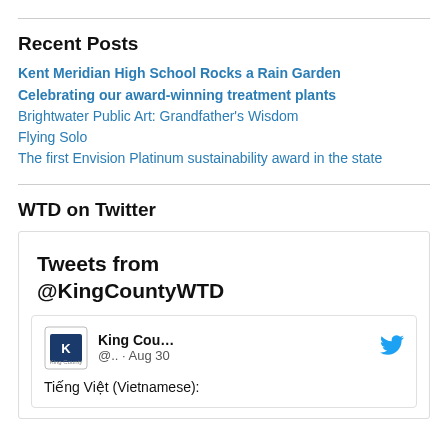Recent Posts
Kent Meridian High School Rocks a Rain Garden
Celebrating our award-winning treatment plants
Brightwater Public Art: Grandfather’s Wisdom
Flying Solo
The first Envision Platinum sustainability award in the state
WTD on Twitter
[Figure (screenshot): Tweets from @KingCountyWTD Twitter widget showing a tweet card with King County logo, handle @.. · Aug 30, and text 'Tiếng Việt (Vietnamese):']